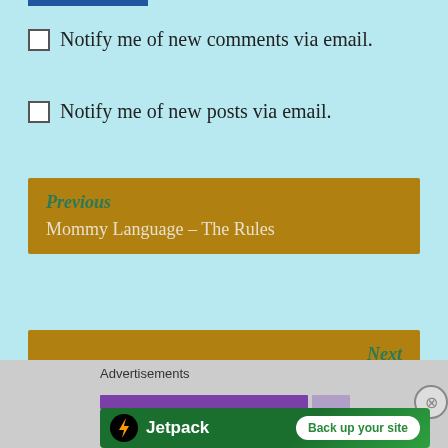Notify me of new comments via email.
Notify me of new posts via email.
Previous
Mommy Language – The Rules
Next
Just Sign 'Em Up!
Advertisements
[Figure (screenshot): Purple loading bar partial, with close button]
Advertisements
[Figure (screenshot): Jetpack banner ad with lightning bolt logo and 'Back up your site' button on green background]